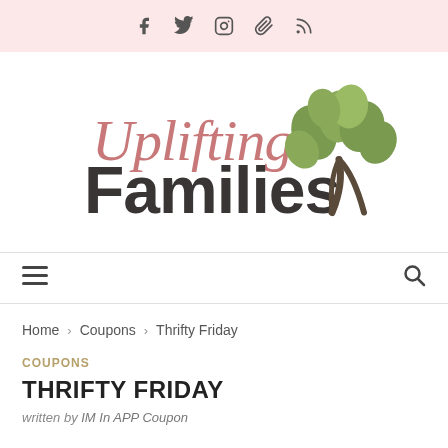f  ✦  ❧  ⊕  )))
[Figure (logo): Uplifting Families logo with cursive 'Uplifting' in dusty rose and bold 'Families' in dark gray, with a green tree illustration to the right]
≡   🔍
Home  >  Coupons  >  Thrifty Friday
COUPONS
THRIFTY FRIDAY
written by IM In APP Coupon